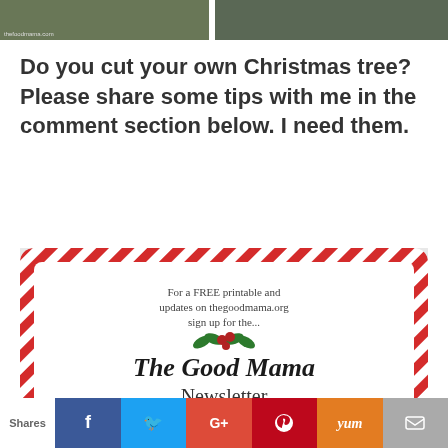[Figure (photo): Two outdoor photos side by side showing people near trees, possibly at a Christmas tree farm]
Do you cut your own Christmas tree? Please share some tips with me in the comment section below. I need them.
[Figure (illustration): Newsletter signup box with candy cane striped border. Text reads: For a FREE printable and updates on thegoodmama.org sign up for the... The Good Mama Newsletter]
Save
Shares